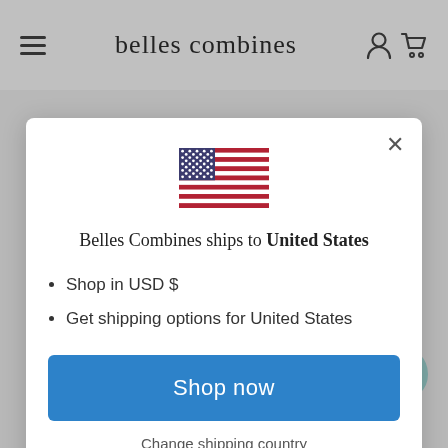belles combines
[Figure (illustration): US flag icon inside a modal dialog]
Belles Combines ships to United States
Shop in USD $
Get shipping options for United States
Shop now
Change shipping country
Related products